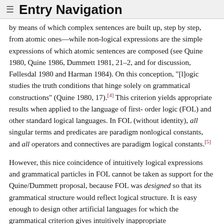≡ Entry Navigation
by means of which complex sentences are built up, step by step, from atomic ones—while non-logical expressions are the simple expressions of which atomic sentences are composed (see Quine 1980, Quine 1986, Dummett 1981, 21–2, and for discussion, Føllesdal 1980 and Harman 1984). On this conception, "[l]ogic studies the truth conditions that hinge solely on grammatical constructions" (Quine 1980, 17).[4] This criterion yields appropriate results when applied to the language of first-order logic (FOL) and other standard logical languages. In FOL (without identity), all singular terms and predicates are paradigm nonlogical constants, and all operators and connectives are paradigm logical constants.[5]
However, this nice coincidence of intuitively logical expressions and grammatical particles in FOL cannot be taken as support for the Quine/Dummett proposal, because FOL was designed so that its grammatical structure would reflect logical structure. It is easy enough to design other artificial languages for which the grammatical criterion gives intuitively inappropriate